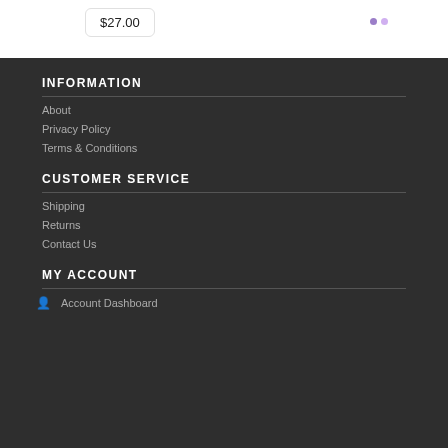$27.00
INFORMATION
About
Privacy Policy
Terms & Conditions
CUSTOMER SERVICE
Shipping
Returns
Contact Us
MY ACCOUNT
Account Dashboard